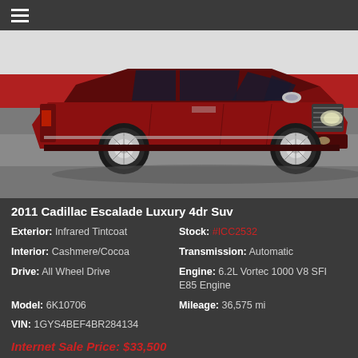≡
[Figure (photo): 2011 Cadillac Escalade Luxury 4dr SUV in dark red (Infrared Tintcoat) parked in a dealership showroom, three-quarter front view, chrome wheels, dark interior visible through windows.]
2011 Cadillac Escalade Luxury 4dr Suv
Exterior: Infrared Tintcoat
Stock: #ICC2532
Interior: Cashmere/Cocoa
Transmission: Automatic
Drive: All Wheel Drive
Engine: 6.2L Vortec 1000 V8 SFI E85 Engine
Model: 6K10706
Mileage: 36,575 mi
VIN: 1GYS4BEF4BR284134
Internet Sale Price: $33,500